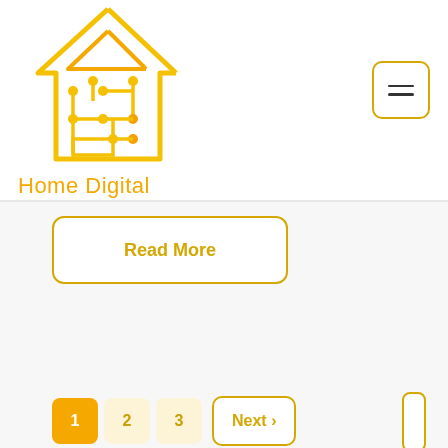[Figure (logo): Home Digital logo: a house outline in yellow/gold with circuit board node pattern inside, above text 'Home Digital']
[Figure (other): Hamburger menu button: rounded rectangle border with two horizontal lines inside]
[Figure (other): Read More button: rounded rectangle border in gold with bold gold text 'Read More']
[Figure (other): Pagination bar: active page '1' in orange, pages '2' and '3' in light gold, 'Next >' button with gold border, and a small bordered rectangle on the right]